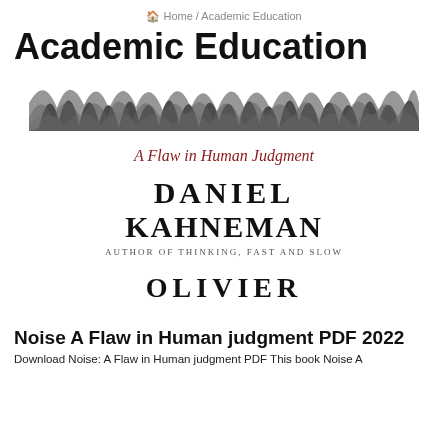🏠 Home / Academic Education
Academic Education
[Figure (photo): Book cover of 'Noise: A Flaw in Human Judgment' by Daniel Kahneman and Olivier Sibony. Shows dark abstract texture at top, subtitle 'A Flaw in Human Judgment' in red serif font, author name 'DANIEL KAHNEMAN' in large serif caps, 'AUTHOR OF THINKING, FAST AND SLOW' in small caps, and 'OLIVIER' in large serif caps.]
Noise A Flaw in Human judgment PDF 2022
Download Noise: A Flaw in Human judgment PDF This book Noise A